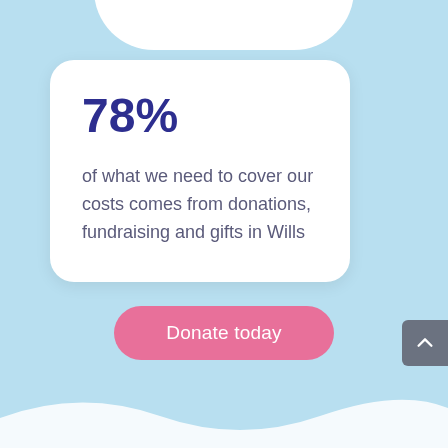78%
of what we need to cover our costs comes from donations, fundraising and gifts in Wills
Donate today